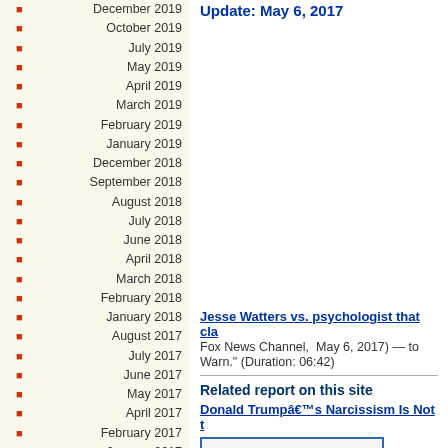December 2019
October 2019
July 2019
May 2019
April 2019
March 2019
February 2019
January 2019
December 2018
September 2018
August 2018
July 2018
June 2018
April 2018
March 2018
February 2018
January 2018
August 2017
July 2017
June 2017
May 2017
April 2017
February 2017
January 2017
December 2016
November 2016
October 2016
September 2016
Update: May 6, 2017
Jesse Watters vs. psychologist that cla Fox News Channel,Â  May 6, 2017) — to Warn.” (Duration: 06:42)
Related report on this site
Donald Trumpâ€™s Narcissism Is Not t
[Figure (screenshot): Thumbnail of a page showing 'S. CLIMAX (Narcissistic Spectrum)' with Reply and Pin buttons]